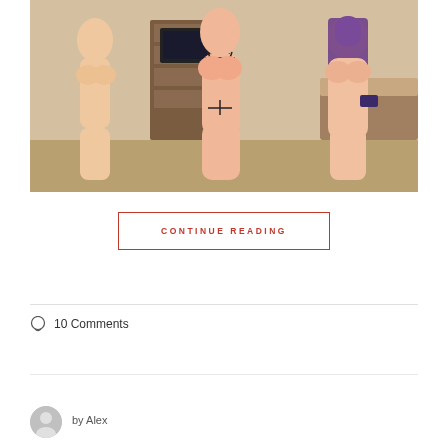[Figure (illustration): Anime-style illustration of three female figures in a bedroom setting]
CONTINUE READING
10 Comments
by Alex